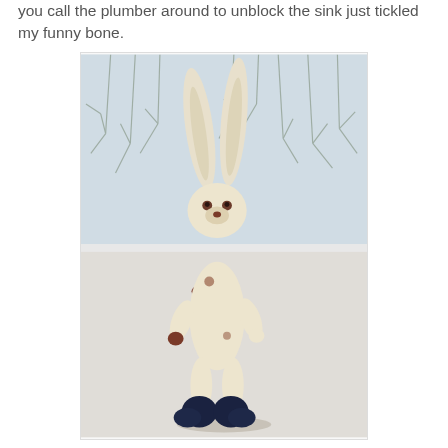you call the plumber around to unblock the sink just tickled my funny bone.
[Figure (photo): A felted wool rabbit toy with very long ears standing upright on a windowsill, wearing dark navy blue boots/shoes. The background shows a snowy winter scene through a large window with bare trees visible outside.]